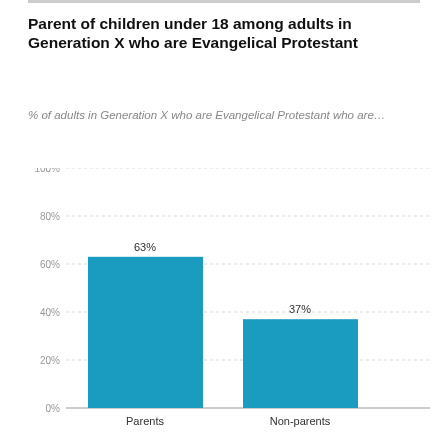Parent of children under 18 among adults in Generation X who are Evangelical Protestant
% of adults in Generation X who are Evangelical Protestant who are…
[Figure (bar-chart): Parent of children under 18 among adults in Generation X who are Evangelical Protestant]